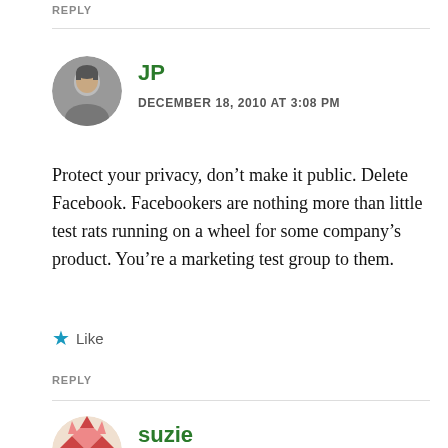REPLY
JP
DECEMBER 18, 2010 AT 3:08 PM
Protect your privacy, don’t make it public. Delete Facebook. Facebookers are nothing more than little test rats running on a wheel for some company’s product. You’re a marketing test group to them.
★ Like
REPLY
suzie